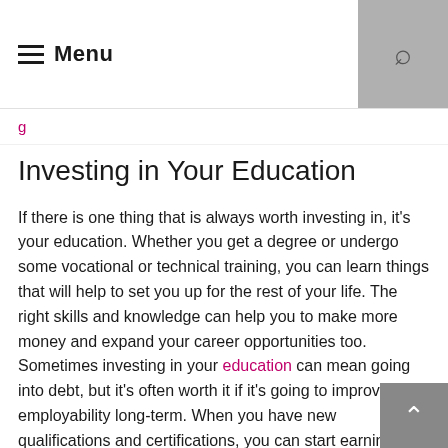Menu
g
Investing in Your Education
If there is one thing that is always worth investing in, it's your education. Whether you get a degree or undergo some vocational or technical training, you can learn things that will help to set you up for the rest of your life. The right skills and knowledge can help you to make more money and expand your career opportunities too. Sometimes investing in your education can mean going into debt, but it's often worth it if it's going to improve your employability long-term. When you have new qualifications and certifications, you can start earning more or looking for new job opportunities. You could also invest in the stock market, with buy draftkings shares.